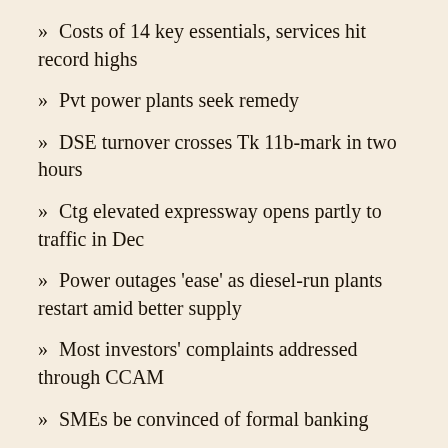» Costs of 14 key essentials, services hit record highs
» Pvt power plants seek remedy
» DSE turnover crosses Tk 11b-mark in two hours
» Ctg elevated expressway opens partly to traffic in Dec
» Power outages 'ease' as diesel-run plants restart amid better supply
» Most investors' complaints addressed through CCAM
» SMEs be convinced of formal banking
» Romo Rouf Chowdhury appointed new chairman of Bank Asia
» SR Shipping rescues fisherman - KSRM